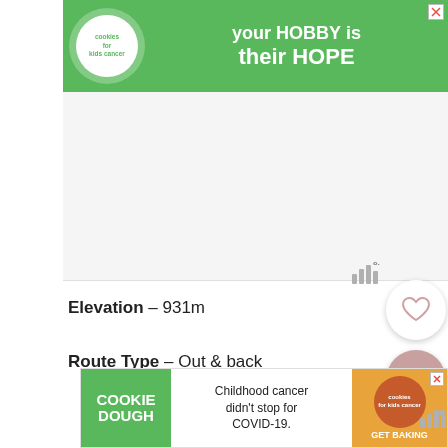[Figure (screenshot): Green advertisement banner for Cookies for Kids Cancer. Shows circular logo on left with 'cookies for kids cancer' text, and on the right white bold text reading 'your HOBBY is their HOPE' on green background. Close button (X) in top right corner.]
[Figure (screenshot): White/light gray blank map area occupying the middle section of the page.]
[Figure (infographic): Circular heart favorite button (white circle with heart icon) and circular search button (pink/mauve circle with magnifying glass icon) on the right side.]
Elevation – 931m
Route Type – Out & back
[Figure (screenshot): Bottom advertisement banner for Cookie Dough / Cookies for Kids Cancer. Left green section with 'COOKIE DOUGH' text, center white section with 'Childhood cancer didn't stop for COVID-19.' text, right orange section with cookies for kids cancer circular logo and 'GET BAKING' text. Close (X) button in top right.]